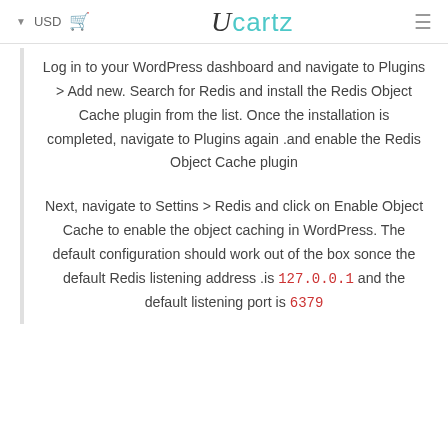USD  [cart icon]  Ucartz  [menu]
Log in to your WordPress dashboard and navigate to Plugins > Add new. Search for Redis and install the Redis Object Cache plugin from the list. Once the installation is completed, navigate to Plugins again and enable the Redis Object Cache plugin.
Next, navigate to Settins > Redis and click on Enable Object Cache to enable the object caching in WordPress. The default configuration should work out of the box sonce the default Redis listening address is 127.0.0.1 and the default listening port is 6379